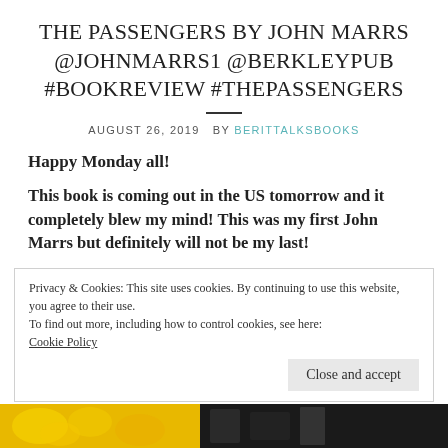THE PASSENGERS BY JOHN MARRS @JOHNMARRS1 @BERKLEYPUB #BOOKREVIEW #THEPASSENGERS
AUGUST 26, 2019  BY BERITTALKSBOOKS
Happy Monday all!
This book is coming out in the US tomorrow and it completely blew my mind! This was my first John Marrs but definitely will not be my last!
Privacy & Cookies: This site uses cookies. By continuing to use this website, you agree to their use.
To find out more, including how to control cookies, see here:
Cookie Policy
Close and accept
[Figure (photo): Bottom strip showing yellow flowers and dark background, partially visible at the bottom of the page]